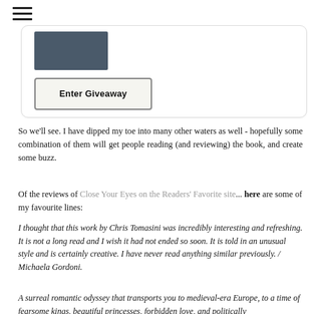[Figure (other): Hamburger menu icon (three horizontal lines) at top left]
[Figure (other): Card widget containing a dark book cover image and an 'Enter Giveaway' button]
So we'll see. I have dipped my toe into many other waters as well - hopefully some combination of them will get people reading (and reviewing) the book, and create some buzz.
Of the reviews of Close Your Eyes on the Readers' Favorite site... here are some of my favourite lines:
I thought that this work by Chris Tomasini was incredibly interesting and refreshing. It is not a long read and I wish it had not ended so soon. It is told in an unusual style and is certainly creative. I have never read anything similar previously. / Michaela Gordoni.
A surreal romantic odyssey that transports you to medieval-era Europe, to a time of fearsome kings, beautiful princesses, forbidden love, and politically